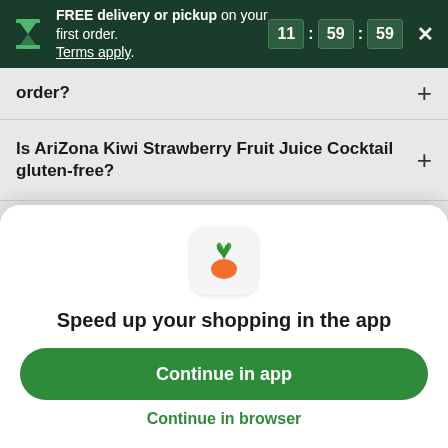FREE delivery or pickup on your first order. Terms apply. 11 : 59 : 59
order?
Is AriZona Kiwi Strawberry Fruit Juice Cocktail gluten-free?
How many calories are in AriZona Kiwi Strawberry Fruit Juice Cocktail?
How many carbs are in AriZona Kiwi...
Speed up your shopping in the app
Continue in app
Continue in browser